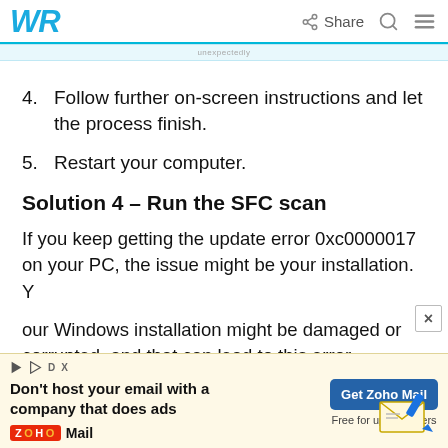WR | Share
4. Follow further on-screen instructions and let the process finish.
5. Restart your computer.
Solution 4 – Run the SFC scan
If you keep getting the update error 0xc0000017 on your PC, the issue might be your installation. Y
our Windows installation might be damaged or corrupted, and that can lead to this error
[Figure (screenshot): Advertisement banner for Zoho Mail: 'Don't host your email with a company that does ads' with a 'Get Zoho Mail – Free for up to 5 users' button and Zoho Mail logo with envelope illustration.]